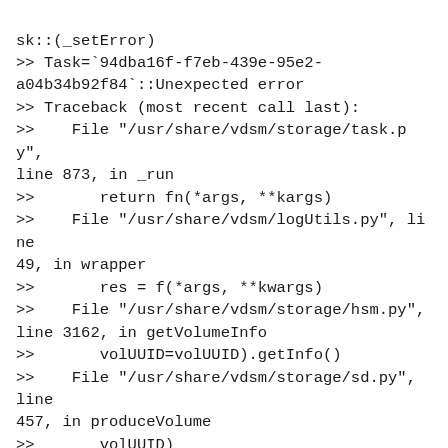sk::(_setError)
>> Task=`94dba16f-f7eb-439e-95e2-a04b34b92f84`::Unexpected error
>> Traceback (most recent call last):
>>    File "/usr/share/vdsm/storage/task.py", line 873, in _run
>>       return fn(*args, **kargs)
>>    File "/usr/share/vdsm/logUtils.py", line 49, in wrapper
>>       res = f(*args, **kwargs)
>>    File "/usr/share/vdsm/storage/hsm.py", line 3162, in getVolumeInfo
>>       volUUID=volUUID).getInfo()
>>    File "/usr/share/vdsm/storage/sd.py", line 457, in produceVolume
>>       volUUID)
>>    File "/usr/share/vdsm/storage/glusterVolume.py", line 16, in __init__
>>       volUUID)
>>    File "/usr/share/vdsm/storage/fileVolume.py", line 58, in  init